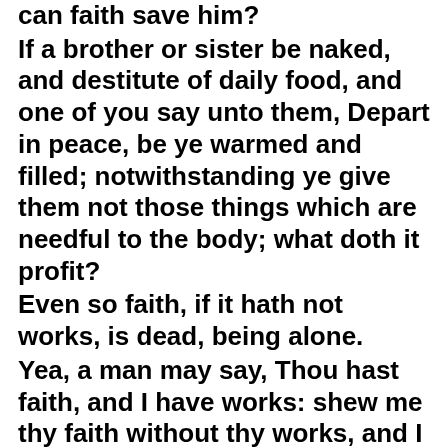can faith save him?
If a brother or sister be naked, and destitute of daily food, and one of you say unto them, Depart in peace, be ye warmed and filled; notwithstanding ye give them not those things which are needful to the body; what doth it profit?
Even so faith, if it hath not works, is dead, being alone.
Yea, a man may say, Thou hast faith, and I have works: shew me thy faith without thy works, and I will shew thee my faith by my works.
Thou believest that there is one God; thou doest well: the devils also believe, and